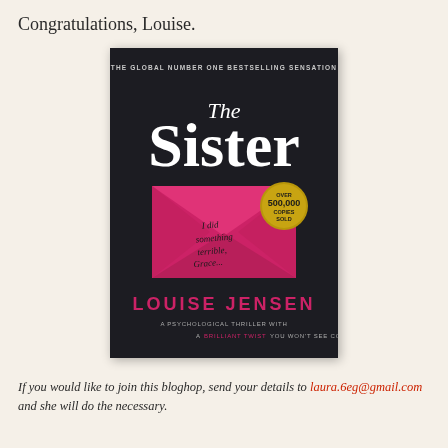Congratulations, Louise.
[Figure (photo): Book cover of 'The Sister' by Louise Jensen. Dark background with a pink envelope in the center. Text on the envelope reads 'I did something terrible, Grace...' A gold badge reads 'OVER 500,000 COPIES SOLD'. Top text: 'THE GLOBAL NUMBER ONE BESTSELLING SENSATION'. Bottom: 'LOUISE JENSEN' and 'A PSYCHOLOGICAL THRILLER WITH A BRILLIANT TWIST YOU WON'T SEE COMING'.]
If you would like to join this bloghop, send your details to laura.6eg@gmail.com and she will do the necessary.